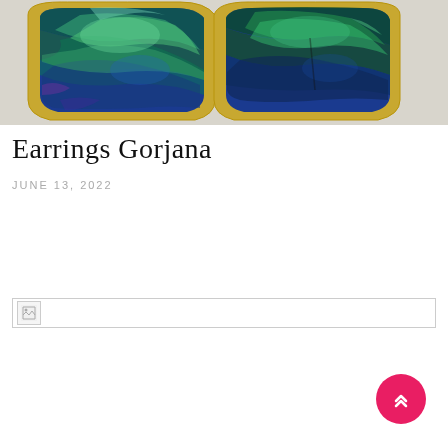[Figure (photo): Two opal earrings set in gold bezels, showing vivid blue, green and teal colors, against a light gray background. The earrings have a trapezoidal/rounded triangular shape.]
Earrings Gorjana
JUNE 13, 2022
[Figure (photo): Broken image placeholder icon]